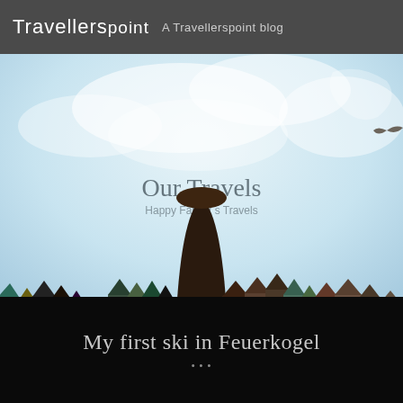Travellerspoint — A Travellerspoint blog
[Figure (illustration): Illustrated banner image showing colored pencil tips arranged like a mountain landscape against a light blue cloudy sky, with a central dark volcano-like peak made of pencil tips.]
Our Travels
Happy Family's Travels
My first ski in Feuerkogel